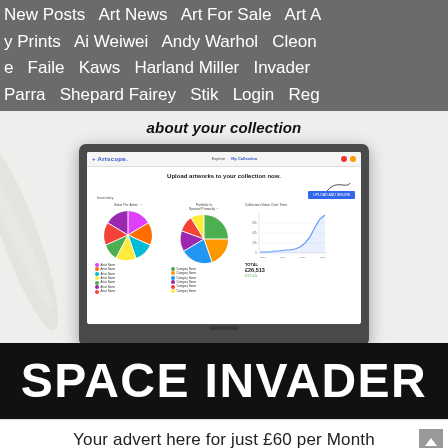New Posts   Art News   Art For Sale   Art A... y Prints   Ai Weiwei   Andy Warhol   Cleon... e   Faile   Kaws   Harland Miller   Invader   Parra   Shepard Fairey   Stik   Login   Reg...
about your collection
[Figure (screenshot): Screenshot of Artscope website showing pie charts for collection analysis and a line chart for collection value over time]
SPACE INVADER
Your advert here for just £60 per Month